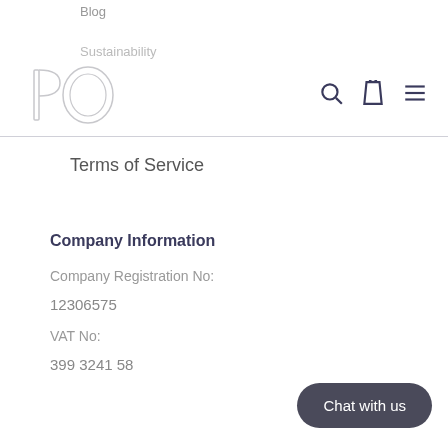Blog
Sustainability
[Figure (logo): PO logo outline letters in light gray]
Terms of Service
Company Information
Company Registration No:
12306575
VAT No:
399 3241 58
Chat with us